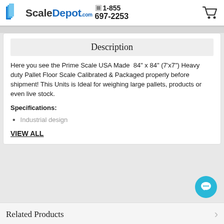ScaleDepot.com 1-855 697-2253
Description
Here you see the Prime Scale USA Made  84" x 84" (7'x7") Heavy duty Pallet Floor Scale Calibrated & Packaged properly before shipment! This Units is Ideal for weighing large pallets, products or even live stock.
Specifications:
Industrial design
VIEW ALL
Related Products